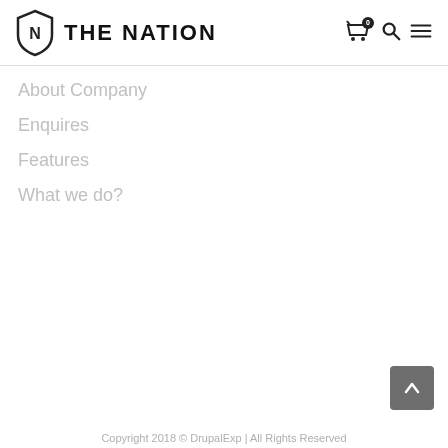THE NATION
About Company
Enquires
Features
What we do?
Copyright 2018 © DrupalExp | All Rights Reserved